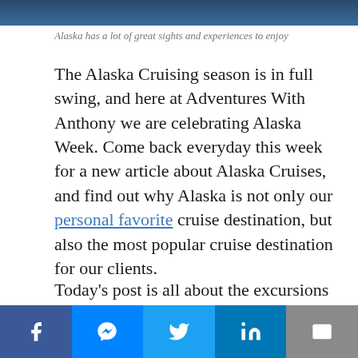[Figure (photo): Dark blue ocean/water photo strip at the top of the page]
Alaska has a lot of great sights and experiences to enjoy
The Alaska Cruising season is in full swing, and here at Adventures With Anthony we are celebrating Alaska Week. Come back everyday this week for a new article about Alaska Cruises, and find out why Alaska is not only our personal favorite cruise destination, but also the most popular cruise destination for our clients.
Today's post is all about the excursions available when cruising Alaska. Read on for some of the best experiences you can look
[Figure (infographic): Social media share bar at the bottom with Facebook, Messenger, Twitter, LinkedIn, and Email buttons]